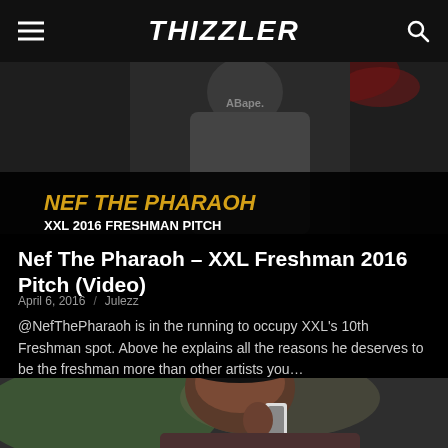THIZZLER
[Figure (photo): Nef The Pharaoh XXL 2016 Freshman Pitch promotional image with text overlay showing artist name and pitch title in gold/yellow text on black background]
Nef The Pharaoh – XXL Freshman 2016 Pitch (Video)
April 6, 2016 / Julezz
@NefThePharaoh is in the running to occupy XXL's 10th Freshman spot. Above he explains all the reasons he deserves to be the freshman more than other artists you…
[Figure (photo): Close-up photo of a man talking on a white iPhone, partially cropped at bottom of page]